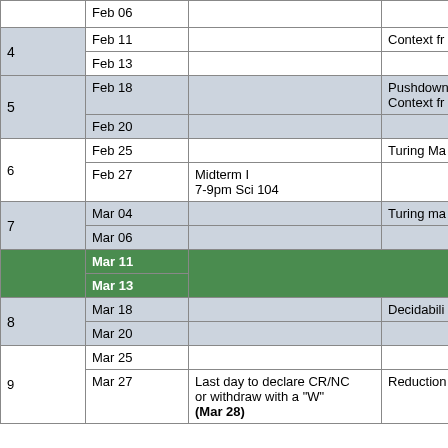| Week | Date | Notes | Topic |
| --- | --- | --- | --- |
|  | Feb 06 |  |  |
| 4 | Feb 11 |  | Context fr... |
| 4 | Feb 13 |  |  |
| 5 | Feb 18 |  | Pushdown Context fr... |
| 5 | Feb 20 |  |  |
| 6 | Feb 25 |  | Turing Ma... |
| 6 | Feb 27 | Midterm I 7-9pm Sci 104 |  |
| 7 | Mar 04 |  | Turing ma... |
| 7 | Mar 06 |  |  |
|  | Mar 11 |  | Spring ... |
|  | Mar 13 |  |  |
| 8 | Mar 18 |  | Decidabili... |
| 8 | Mar 20 |  |  |
| 9 | Mar 25 |  | Reduction... |
| 9 | Mar 27 | Last day to declare CR/NC or withdraw with a "W" (Mar 28) | Reduction... |